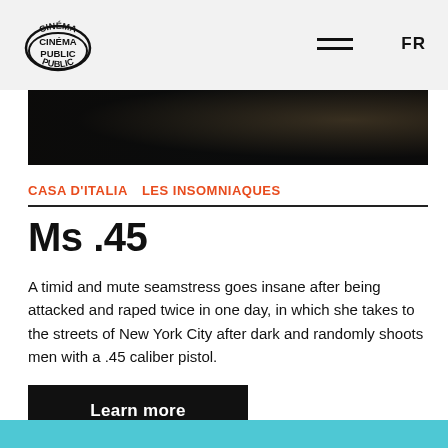CINÉMA PUBLIC — FR
[Figure (photo): Dark film still strip showing a dimly lit scene]
CASA D'ITALIA   LES INSOMNIAQUES
Ms .45
A timid and mute seamstress goes insane after being attacked and raped twice in one day, in which she takes to the streets of New York City after dark and randomly shoots men with a .45 caliber pistol.
Learn more